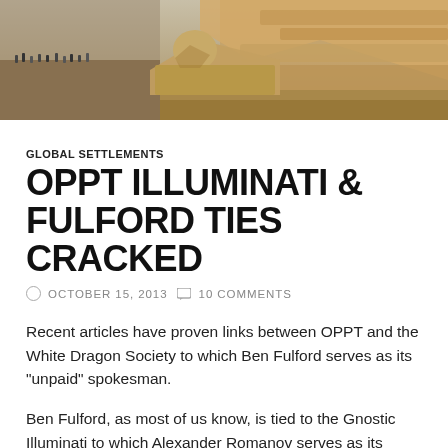[Figure (photo): Aerial or ground-level photo of ancient Egyptian ruins, possibly Giza with the Sphinx area and rocky terrain visible, with tourists in the background.]
GLOBAL SETTLEMENTS
OPPT ILLUMINATI & FULFORD TIES CRACKED
OCTOBER 15, 2013   10 COMMENTS
Recent articles have proven links between OPPT and the White Dragon Society to which Ben Fulford serves as its "unpaid" spokesman.
Ben Fulford, as most of us know, is tied to the Gnostic Illuminati to which Alexander Romanov serves as its representative.
Romanov claims lead that his organization has a...